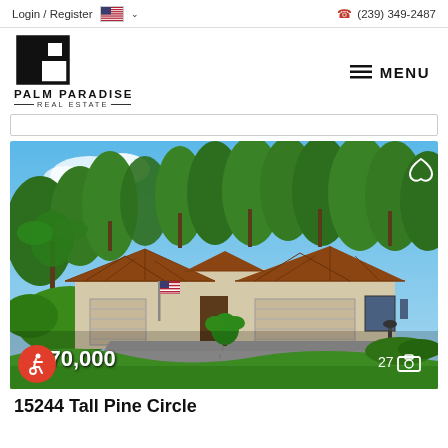Login / Register  (239) 349-2487
[Figure (logo): Palm Paradise Real Estate logo with stylized P icon]
MENU
[Figure (photo): Exterior photo of a residential duplex home with brown tile roof, two-car garages, American flag, lush green lawn, and trees in background]
$370,000
27 (camera icon)
15244 Tall Pine Circle